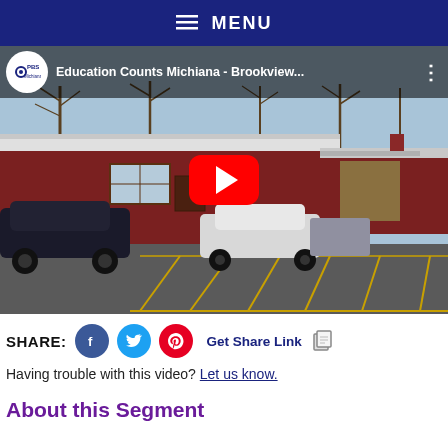MENU
[Figure (screenshot): YouTube video thumbnail showing a red brick school building with a parking lot in the foreground. The video is titled 'Education Counts Michiana - Brookview...' and features the PBS Michiana logo. A red YouTube play button is centered on the image.]
SHARE:  Get Share Link
Having trouble with this video? Let us know.
About this Segment